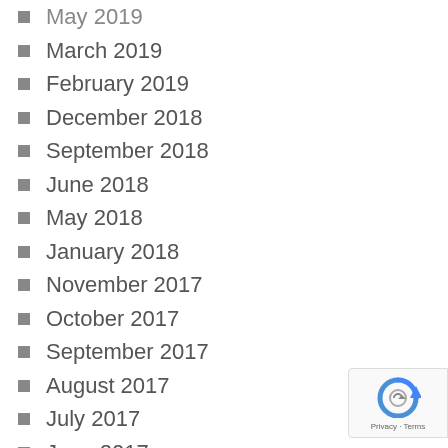May 2019
March 2019
February 2019
December 2018
September 2018
June 2018
May 2018
January 2018
November 2017
October 2017
September 2017
August 2017
July 2017
June 2017
May 2017